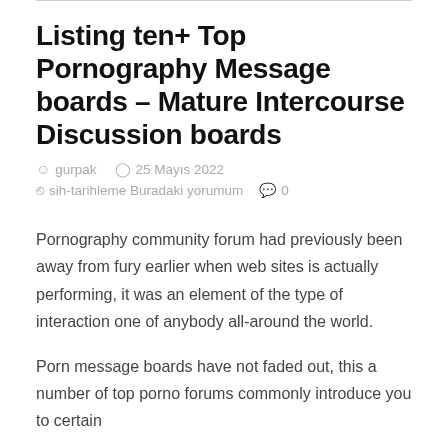Listing ten+ Top Pornography Message boards – Mature Intercourse Discussion boards
gurpak   25 Mayıs 2022   sih-tarihleme Buradaki yorumum   0
Pornography community forum had previously been away from fury earlier when web sites is actually performing, it was an element of the type of interaction one of anybody all-around the world.
Porn message boards have not faded out, this a number of top porno forums commonly introduce you to certain